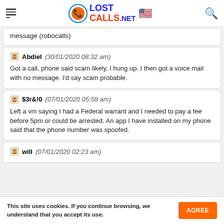LOST CALLS .NET
message (robocalls)
Abdiel (30/01/2020 08:32 am)
Got a call, phone said scam likely. I hung up. I then got a voice mail with no message. I'd say scam probable.
$3r&!0 (07/01/2020 05:58 am)
Left a vm saying I had a Federal warrant and I needed to pay a fee before 5pm or could be arrested. An app I have installed on my phone said that the phone number was spoofed.
will (07/01/2020 02:23 am)
This site uses cookies. If you continue browsing, we understand that you accept its use.